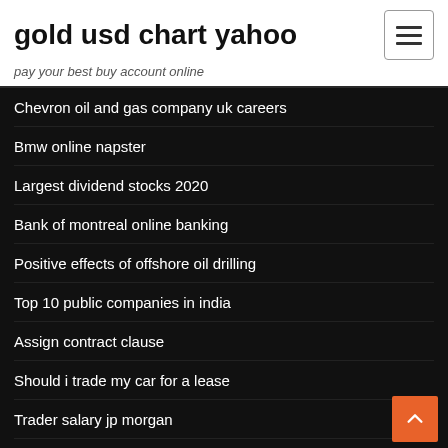gold usd chart yahoo
pay your best buy account online
Chevron oil and gas company uk careers
Bmw online napster
Largest dividend stocks 2020
Bank of montreal online banking
Positive effects of offshore oil drilling
Top 10 public companies in india
Assign contract clause
Should i trade my car for a lease
Trader salary jp morgan
How to file income tax return online in india english